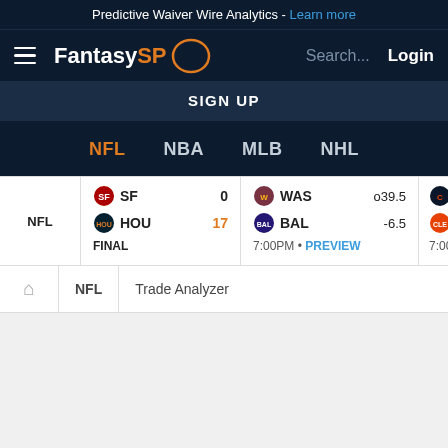Predictive Waiver Wire Analytics - Learn more
[Figure (logo): FantasySP logo with hamburger menu, search and login]
SIGN UP
NFL  NBA  MLB  NHL
| NFL | SF 0 | HOU 17 | FINAL | WAS o39.5 | BAL -6.5 | 7:00PM PREVIEW | CHI | CLE | 7:00PM PREV |
NFL  Trade Analyzer